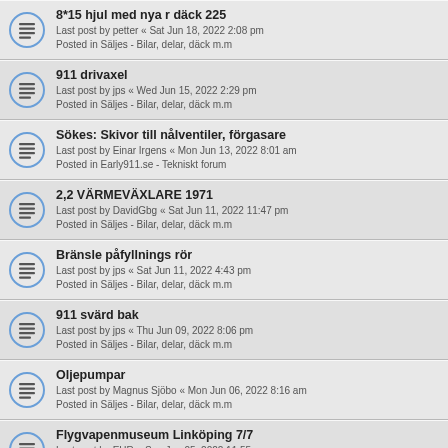8*15 hjul med nya r däck 225
Last post by petter « Sat Jun 18, 2022 2:08 pm
Posted in Säljes - Bilar, delar, däck m.m
911 drivaxel
Last post by jps « Wed Jun 15, 2022 2:29 pm
Posted in Säljes - Bilar, delar, däck m.m
Sökes: Skivor till nålventiler, förgasare
Last post by Einar Irgens « Mon Jun 13, 2022 8:01 am
Posted in Early911.se - Tekniskt forum
2,2 VÄRMEVÄXLARE 1971
Last post by DavidGbg « Sat Jun 11, 2022 11:47 pm
Posted in Säljes - Bilar, delar, däck m.m
Bränsle påfyllnings rör
Last post by jps « Sat Jun 11, 2022 4:43 pm
Posted in Säljes - Bilar, delar, däck m.m
911 svärd bak
Last post by jps « Thu Jun 09, 2022 8:06 pm
Posted in Säljes - Bilar, delar, däck m.m
Oljepumpar
Last post by Magnus Sjöbo « Mon Jun 06, 2022 8:16 am
Posted in Säljes - Bilar, delar, däck m.m
Flygvapenmuseum Linköping 7/7
Last post by EHR « Sun Jun 05, 2022 11:55 pm
Posted in Kommande aktiviteter
Ljusomkopplare samt tändspole